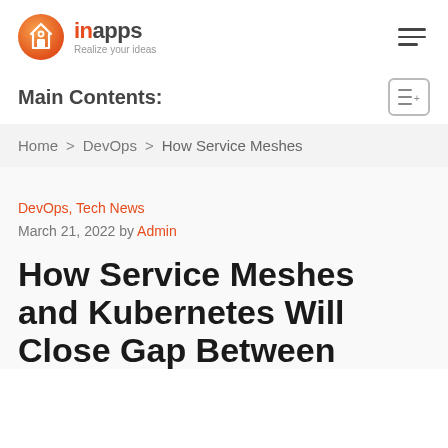[Figure (logo): InApps logo with orange circle icon and text 'inapps Realize your ideas']
Main Contents:
Home > DevOps > How Service Meshes
DevOps, Tech News
March 21, 2022 by Admin
How Service Meshes and Kubernetes Will Close Gap Between